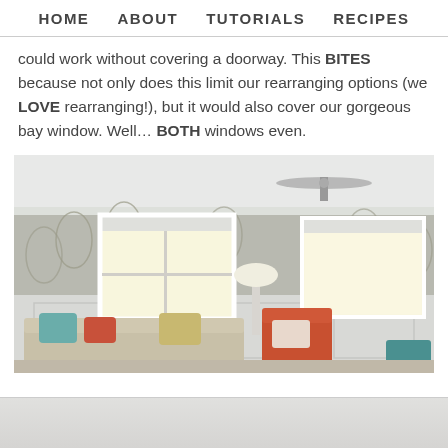HOME   ABOUT   TUTORIALS   RECIPES
could work without covering a doorway. This BITES because not only does this limit our rearranging options (we LOVE rearranging!), but it would also cover our gorgeous bay window. Well… BOTH windows even.
[Figure (photo): Interior living room photo showing two windows with white roller shades, patterned wallpaper on upper half of walls, white wainscoting on lower half, a beige sectional sofa with teal and orange pillows, an orange accent chair with patterned pillow, a floor lamp, and a ceiling fan. A teal side table is visible on the right.]